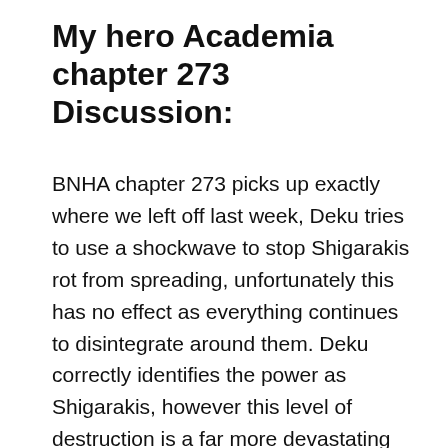My hero Academia chapter 273 Discussion:
BNHA chapter 273 picks up exactly where we left off last week, Deku tries to use a shockwave to stop Shigarakis rot from spreading, unfortunately this has no effect as everything continues to disintegrate around them. Deku correctly identifies the power as Shigarakis, however this level of destruction is a far more devastating then what Deku had faced back when he met Shigi at the shopping centre. Todoroki attempts to build a barrier with a giant ice wall, but this just collapses forcing the heroes to flee with as many civilians as possible, they can do nothing to stop the destruction, only attempt to outrun the onslaught